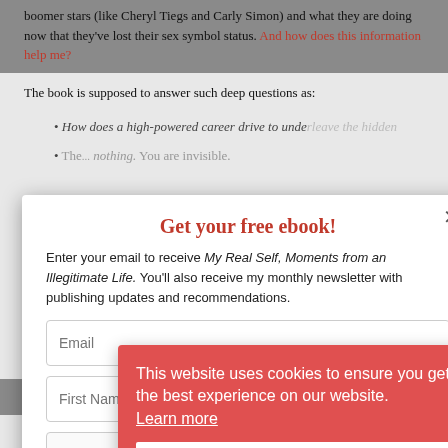boomer stars (like Cheryl Tiegs and Carly Simon) and what they are doing now that they've lost their sex symbol status. And how does this information help me?
The book is supposed to answer such deep questions as:
How does a high-powered career drive to underleave the hidden...
The... nothing. You are invisible.
How can women continue to be sensual and not touch-deprived? - Carol...
Get your free ebook!
Enter your email to receive My Real Self, Moments from an Illegitimate Life. You'll also receive my monthly newsletter with publishing updates and recommendations.
Email
First Name
I'm not a robot
YES, SEND FREE EBOOK!
This website uses cookies to ensure you get the best experience on our website. Learn more
Got it
Why are we still here? - Very good question! I'm totally stumped unless to...